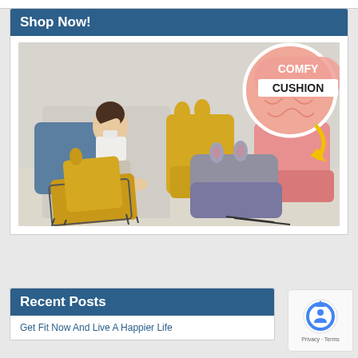Shop Now!
[Figure (photo): Product photo showing comfy cushions in various colors (yellow, gray, pink) and a woman sitting on a blue cushion, with text overlay 'COMFY CUSHION' and a close-up circle inset of cushion texture]
Recent Posts
Get Fit Now And Live A Happier Life